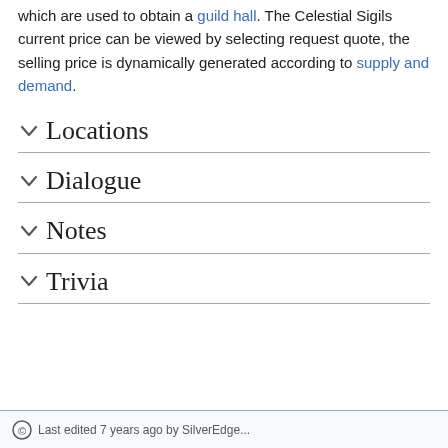which are used to obtain a guild hall. The Celestial Sigils current price can be viewed by selecting request quote, the selling price is dynamically generated according to supply and demand.
Locations
Dialogue
Notes
Trivia
Last edited 7 years ago by SilverEdge...